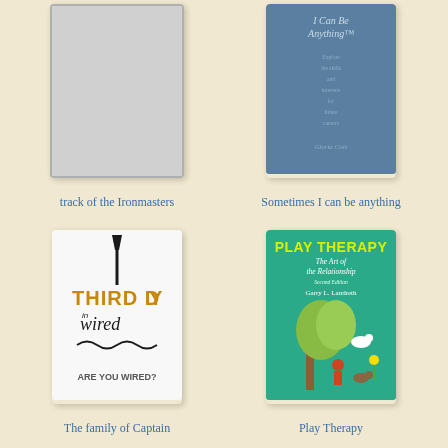[Figure (illustration): Book cover placeholder (light gray) for 'track of the Ironmasters']
track of the Ironmasters
[Figure (illustration): Book cover - blue/teal colored book titled 'Sometimes I can be anything']
Sometimes I can be anything
[Figure (illustration): Book cover - Third Day 'Wired' album/book cover with guitar graphic and text 'ARE YOU WIRED?']
The family of Captain
[Figure (illustration): Book cover - Play Therapy: The Art of the Relationship, Second Edition by Garry L. Landreth, teal cover with children's illustration]
Play Therapy